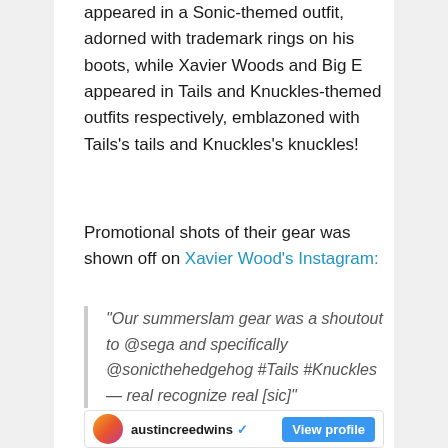appeared in a Sonic-themed outfit, adorned with trademark rings on his boots, while Xavier Woods and Big E appeared in Tails and Knuckles-themed outfits respectively, emblazoned with Tails's tails and Knuckles's knuckles!
Promotional shots of their gear was shown off on Xavier Wood's Instagram:
“Our summerslam gear was a shoutout to @sega and specifically @sonicthehedgehog #Tails #Knuckles — real recognize real [sic]”
[Figure (screenshot): Instagram embed showing user austincreedwins with verified badge and View profile button]